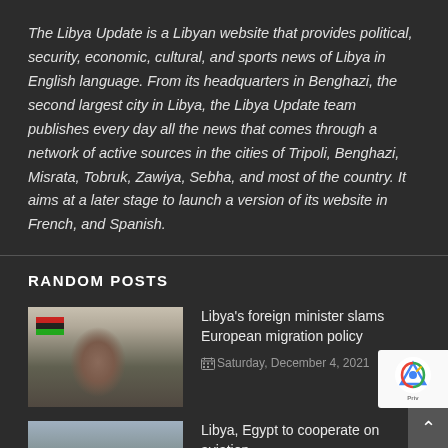The Libya Update is a Libyan website that provides political, security, economic, cultural, and sports news of Libya in English language. From its headquarters in Benghazi, the second largest city in Libya, the Libya Update team publishes every day all the news that comes through a network of active sources in the cities of Tripoli, Benghazi, Misrata, Tobruk, Zawiya, Sebha, and most of the country. It aims at a later stage to launch a version of its website in French, and Spanish.
RANDOM POSTS
Libya's foreign minister slams European migration policy
Saturday, December 4, 2021
Libya, Egypt to cooperate on aviation
Wednesday, September 15, 2021